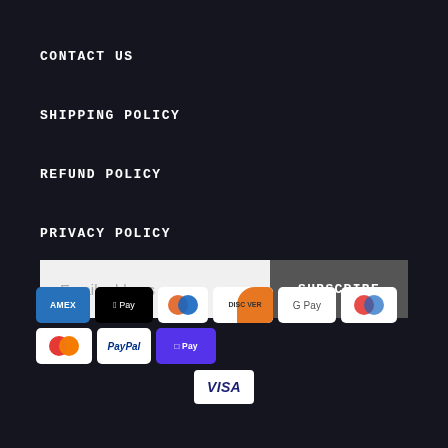CONTACT US
SHIPPING POLICY
REFUND POLICY
PRIVACY POLICY
TERMS OF SERVICE
[Figure (other): Email address input field with SUBSCRIBE button]
[Figure (other): Payment method logos: AMEX, Apple Pay, Diners, Discover, Google Pay, Maestro, Mastercard, PayPal, Shop Pay, Visa]